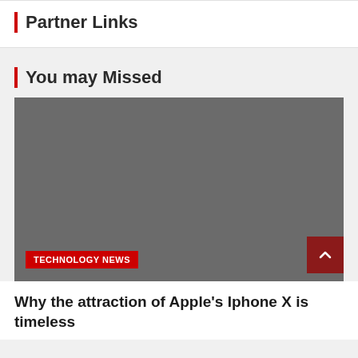Partner Links
You may Missed
[Figure (photo): Gray placeholder image with a red 'TECHNOLOGY NEWS' tag label at the bottom left and a dark red scroll-to-top arrow button at the bottom right]
Why the attraction of Apple's Iphone X is timeless